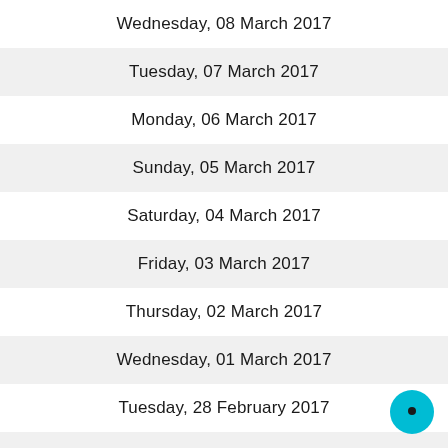Wednesday, 08 March 2017
Tuesday, 07 March 2017
Monday, 06 March 2017
Sunday, 05 March 2017
Saturday, 04 March 2017
Friday, 03 March 2017
Thursday, 02 March 2017
Wednesday, 01 March 2017
Tuesday, 28 February 2017
Monday, 27 February 2017